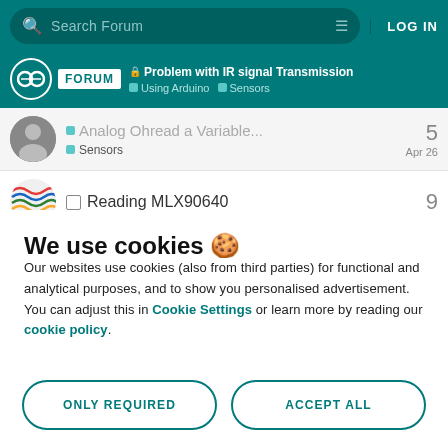Search Forum  LOG IN
FORUM  🔒 Problem with IR signal Transmission  Using Arduino  Sensors
Analog Ohread a Variable
Sensors  Apr 26  5
Reading MLX90640  9
We use cookies 🍪
Our websites use cookies (also from third parties) for functional and analytical purposes, and to show you personalised advertisement. You can adjust this in Cookie Settings or learn more by reading our cookie policy.
ONLY REQUIRED
ACCEPT ALL